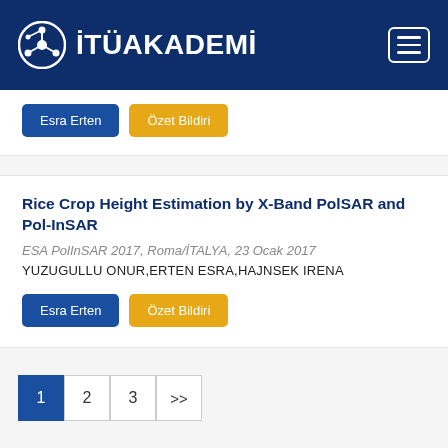[Figure (logo): ITU Akademi logo with network icon and white text on dark blue header background, with hamburger menu button on right]
Esra Erten | Özet Bildiri (buttons in top card)
Rice Crop Height Estimation by X-Band PolSAR and Pol-InSAR
ESA PolInSAR 2017, Roma/İTALYA, 23 Ocak 2017
YUZUGULLU ONUR,ERTEN ESRA,HAJNSEK IRENA
Esra Erten | Özet Bildiri (buttons in main card)
Pagination: 1  2  3  >>